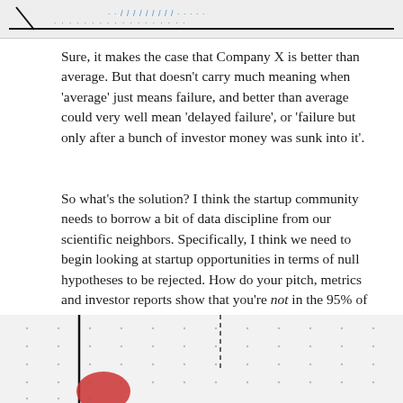[Figure (illustration): Top portion of a hand-drawn chart or graph with a horizontal line and blue text/marks along the top edge, partially cropped]
Sure, it makes the case that Company X is better than average. But that doesn't carry much meaning when 'average' just means failure, and better than average could very well mean 'delayed failure', or 'failure but only after a bunch of investor money was sunk into it'.
So what's the solution? I think the startup community needs to borrow a bit of data discipline from our scientific neighbors. Specifically, I think we need to begin looking at startup opportunities in terms of null hypotheses to be rejected. How do your pitch, metrics and investor reports show that you're not in the 95% of startups that will fail? What makes you different? What makes you the exception?
[Figure (illustration): Bottom portion of a hand-drawn diagram showing axes (vertical line and dashed vertical line) with a red circular shape/mark at the lower left, on dotted grid paper, partially cropped]